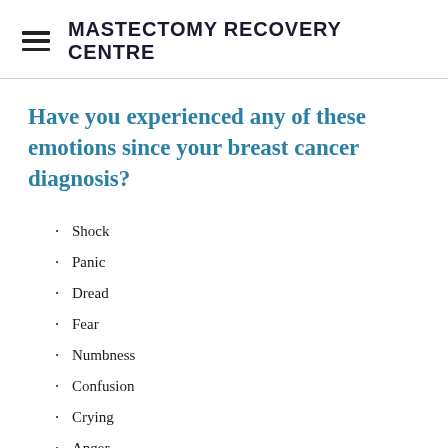MASTECTOMY RECOVERY CENTRE
Have you experienced any of these emotions since your breast cancer diagnosis?
Shock
Panic
Dread
Fear
Numbness
Confusion
Crying
Anger
Stress
Bewilderment